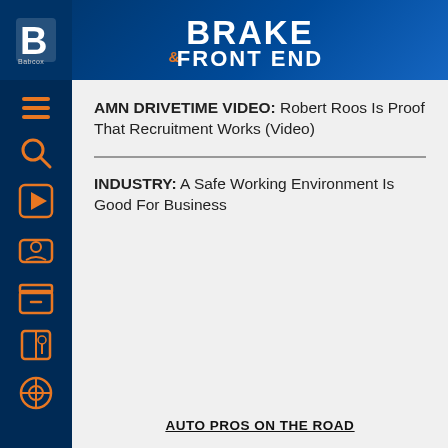[Figure (logo): Brake & Front End magazine logo with Babcox B logo on dark blue background header]
[Figure (infographic): Dark blue sidebar with orange outlined icons: hamburger menu, search, play button, person/laptop, archive box, book/plant, podcast microphone]
AMN DRIVETIME VIDEO: Robert Roos Is Proof That Recruitment Works (Video)
INDUSTRY: A Safe Working Environment Is Good For Business
AUTO PROS ON THE ROAD